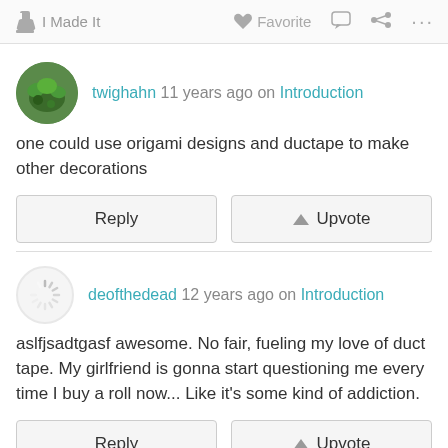I Made It   Favorite   ...
twighahn 11 years ago on Introduction
one could use origami designs and ductape to make other decorations
Reply   Upvote
deofthedead 12 years ago on Introduction
aslfjsadtgasf awesome. No fair, fueling my love of duct tape. My girlfriend is gonna start questioning me every time I buy a roll now... Like it's some kind of addiction.